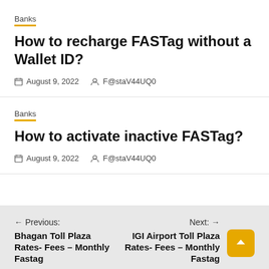Banks
How to recharge FASTag without a Wallet ID?
August 9, 2022   F@staV44UQ0
Banks
How to activate inactive FASTag?
August 9, 2022   F@staV44UQ0
Previous: Bhagan Toll Plaza Rates- Fees – Monthly Fastag | Next: IGI Airport Toll Plaza Rates- Fees – Monthly Fastag